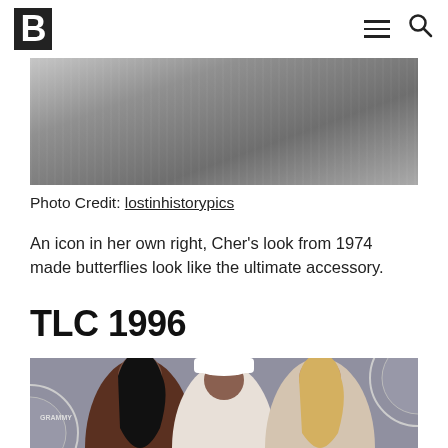B [logo] [hamburger menu] [search icon]
[Figure (photo): Black and white close-up photo of a person's torso, showing a chain necklace and midriff, partially cropped at top]
Photo Credit: lostinhistorypics
An icon in her own right, Cher's look from 1974 made butterflies look like the ultimate accessory.
TLC 1996
[Figure (photo): Color photo of TLC (three women) posing at the Grammy Awards in 1996. Left: woman with long black hair and silver necklace. Center: woman wearing a white bucket hat. Right: woman with blonde hair. Grammy logos visible on either side.]